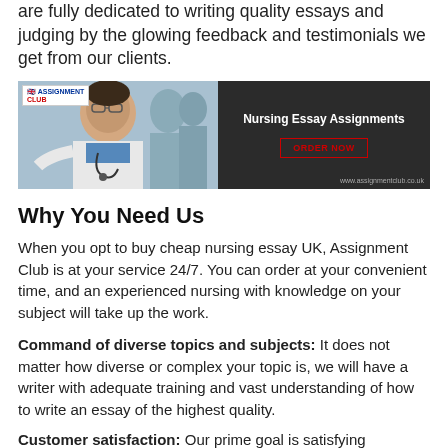are fully dedicated to writing quality essays and judging by the glowing feedback and testimonials we get from our clients.
[Figure (photo): Advertisement banner for Assignment Club showing a smiling male doctor/nurse in a white coat with stethoscope on the left (photo), and a dark panel on the right with text 'Nursing Essay Assignments', an 'ORDER NOW' button in red outline, and the URL www.assignmentclub.co.uk]
Why You Need Us
When you opt to buy cheap nursing essay UK, Assignment Club is at your service 24/7. You can order at your convenient time, and an experienced nursing with knowledge on your subject will take up the work.
Command of diverse topics and subjects: It does not matter how diverse or complex your topic is, we will have a writer with adequate training and vast understanding of how to write an essay of the highest quality.
Customer satisfaction: Our prime goal is satisfying